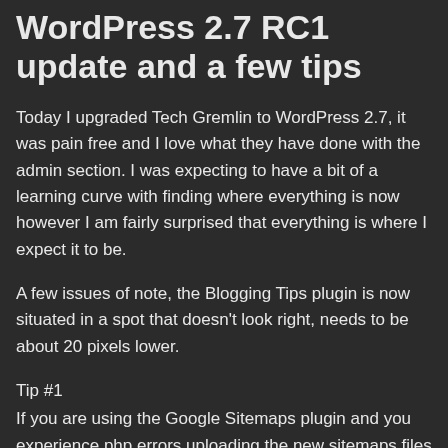WordPress 2.7 RC1 update and a few tips
Today I upgraded Tech Gremlin to WordPress 2.7, it was pain free and I love what they have done with the admin section. I was expecting to have a bit of a learning curve with finding where everything is now however I am fairly surprised that everything is where I expect it to be.
A few issues of note, the Blogging Tips plugin is now situated in a spot that doesn't look right, needs to be about 20 pixels lower.
Tip #1
If you are using the Google Sitemaps plugin and you experience php errors uploading the new sitemaps files after upgrading your WordPress version, this is a permissions issue and is fixed by deleting sitemaps.xml and the gzipped version of the file if you also use that and